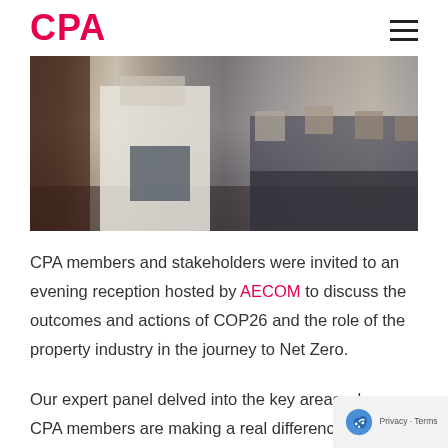CPA
[Figure (photo): A person in a white shirt holding a document folder, with a row of seated people in the background at what appears to be a professional event or conference.]
CPA members and stakeholders were invited to an evening reception hosted by AECOM to discuss the outcomes and actions of COP26 and the role of the property industry in the journey to Net Zero.
Our expert panel delved into the key areas where CPA members are making a real difference, and looked at ways of scaling up initiatives to support a